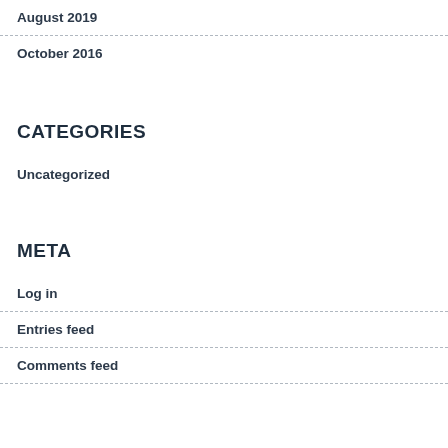August 2019
October 2016
CATEGORIES
Uncategorized
META
Log in
Entries feed
Comments feed